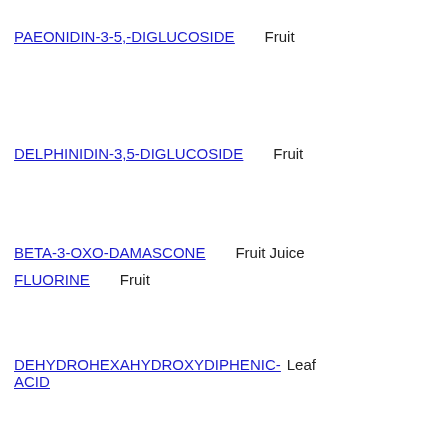PAEONIDIN-3-5,-DIGLUCOSIDE | Fruit
DELPHINIDIN-3,5-DIGLUCOSIDE | Fruit
BETA-3-OXO-DAMASCONE | Fruit Juice
FLUORINE | Fruit
DEHYDROHEXAHYDROXYDIPHENIC-ACID | Leaf